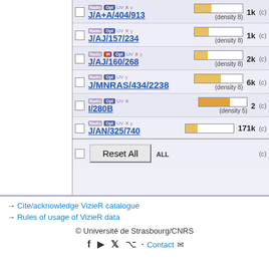J/A+A/404/913 (density 8) 1k (c)
J/AJ/157/234 (density 8) 1k (c)
J/AJ/160/268 (density 8) 2k (c)
J/MNRAS/434/2238 (density 8) 6k (c)
I/280B (density 5) 2 (c)
J/AN/325/740 171k (c)
Reset All ALL (c)
→ Cite/acknowledge VizieR catalogue
→ Rules of usage of VizieR data
© Université de Strasbourg/CNRS
Contact